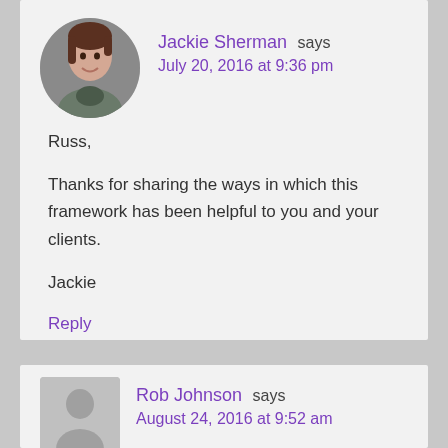[Figure (photo): Avatar photo of Jackie Sherman - woman with short dark hair]
Jackie Sherman says
July 20, 2016 at 9:36 pm
Russ,

Thanks for sharing the ways in which this framework has been helpful to you and your clients.

Jackie
Reply
[Figure (illustration): Default avatar placeholder silhouette for Rob Johnson]
Rob Johnson says
August 24, 2016 at 9:52 am